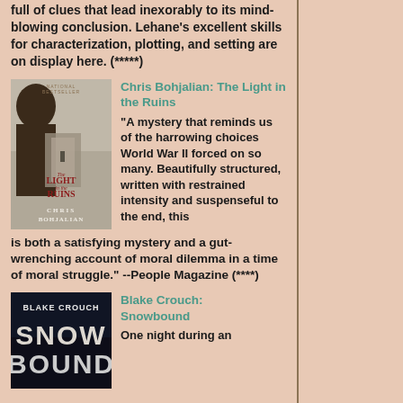full of clues that lead inexorably to its mind-blowing conclusion. Lehane's excellent skills for characterization, plotting, and setting are on display here. (*****)
[Figure (photo): Book cover of 'The Light in the Ruins' by Chris Bohjalian. National Bestseller label at top. Shows a woman's back and a misty alley scene.]
Chris Bohjalian: The Light in the Ruins "A mystery that reminds us of the harrowing choices World War II forced on so many. Beautifully structured, written with restrained intensity and suspenseful to the end, this is both a satisfying mystery and a gut-wrenching account of moral dilemma in a time of moral struggle." --People Magazine (****)
[Figure (photo): Book cover of 'Snowbound' by Blake Crouch. Dark cover with large stylized text BLAKE CROUCH SNOW BOUND.]
Blake Crouch: Snowbound One night during an